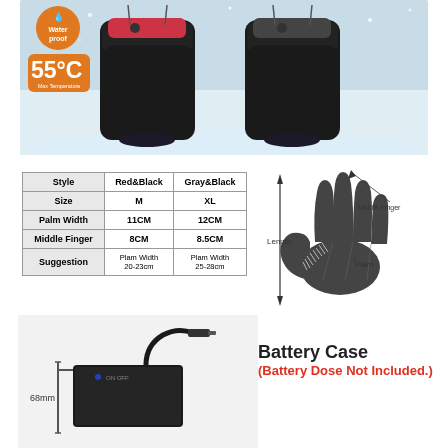[Figure (photo): Product photo of waterproof heated gloves on snowy background, with orange waterproof badge showing circular icon and '55°C Max Temperature' badge]
| Style | Red&Black | Gray&Black |
| --- | --- | --- |
| Size | M | XL |
| Palm Width | 11CM | 12CM |
| Middle Finger | 8CM | 8.5CM |
| Suggestion | Plam Width 20-23cm | Plam Width 25-28cm |
[Figure (illustration): Diagram of a glove hand shape showing measurements: Length (vertical arrow), Middle Finger (label on middle finger), Plam (label on palm area)]
[Figure (photo): Battery case device - a black rectangular battery case with cable/connector, labeled with 68mm dimension marking]
Battery Case
(Battery Dose Not Included.)